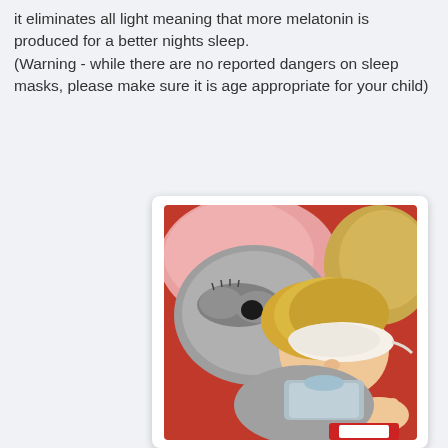it eliminates all light meaning that more melatonin is produced for a better nights sleep.
(Warning - while there are no reported dangers on sleep masks, please make sure it is age appropriate for your child)
[Figure (photo): A sleeping child wearing a white/cream satin sleep mask, resting against a koala stuffed animal pillow that has a grey sleep mask with eyelashes design on it. Pink fluffy blankets and golden/tan pillows visible in the background.]